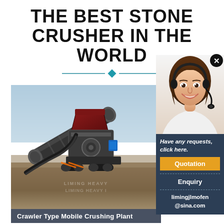THE BEST STONE CRUSHER IN THE WORLD
[Figure (photo): Crawler Type Mobile Crushing Plant machine outdoors on a construction/mining site with dirt ground and blue sky]
Crawler Type Mobile Crushing Plant
[Figure (photo): Customer service agent woman smiling wearing a headset]
Have any requests, click here.
Quotation
Enquiry
limingjlmofen@sina.com